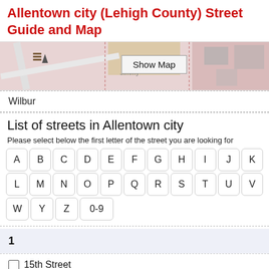Allentown city (Lehigh County) Street Guide and Map
[Figure (map): Partial street map of Allentown city with a 'Show Map' button overlay]
Wilbur
List of streets in Allentown city
Please select below the first letter of the street you are looking for
A B C D E F G H I J K L M N O P Q R S T U V W Y Z 0-9
1
15th Street (secondary)